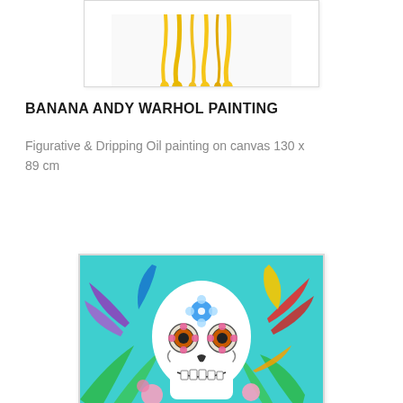[Figure (illustration): Top portion of a painting showing yellow dripping paint on white canvas — partial view of Banana Andy Warhol Painting]
BANANA ANDY WARHOL PAINTING
Figurative & Dripping Oil painting on canvas 130 x 89 cm
[Figure (illustration): Colorful sugar skull (Día de los Muertos style) decorated with flowers and tropical leaves on a turquoise background, framed with a white border]